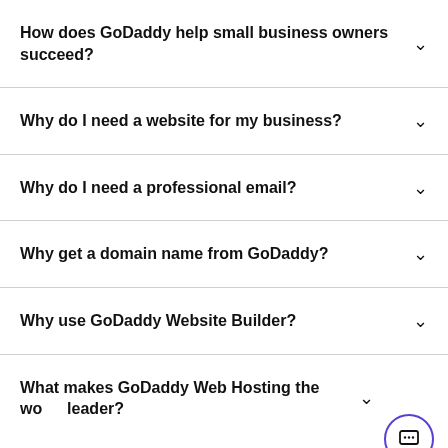How does GoDaddy help small business owners succeed?
Why do I need a website for my business?
Why do I need a professional email?
Why get a domain name from GoDaddy?
Why use GoDaddy Website Builder?
What makes GoDaddy Web Hosting the world leader?